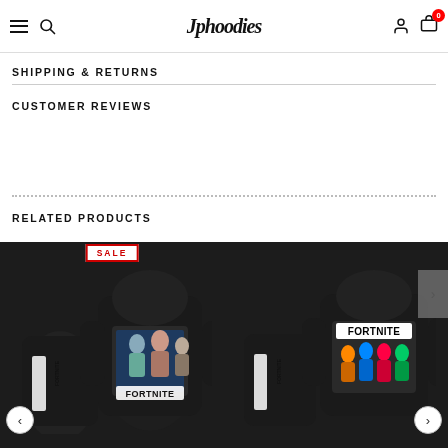Jphoodies — navigation bar with hamburger menu, search, logo, user icon, cart (0)
SHIPPING & RETURNS
CUSTOMER REVIEWS
RELATED PRODUCTS
[Figure (photo): Fortnite black hoodie and jogger set with character graphic, labeled SALE]
[Figure (photo): Fortnite black hoodie and jogger set with FORTNITE logo and colorful characters]